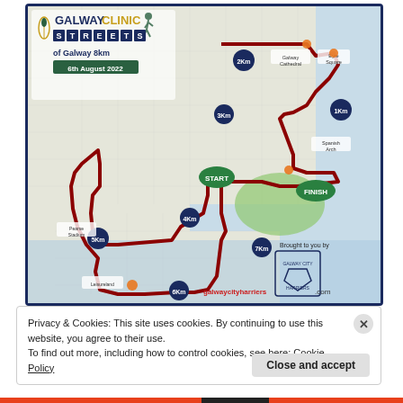[Figure (map): Race route map for Galway Clinic Streets of Galway 8km run on 6th August 2022. Shows a running route through Galway city streets with kilometer markers (1Km through 8Km), START and FINISH markers, landmarks including Galway Cathedral, Eyre Square, Spanish Arch, Pearse Stadium, and Leisureland. Route shown as dark red line on street map. Website galwaycityharriers.com shown. Brought to you by Galway City Harriers logo bottom right.]
Privacy & Cookies: This site uses cookies. By continuing to use this website, you agree to their use.
To find out more, including how to control cookies, see here: Cookie Policy